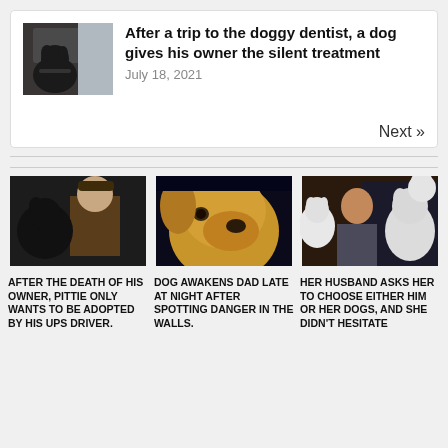[Figure (photo): Dog sitting in a car, dark-colored dog looking away]
After a trip to the doggy dentist, a dog gives his owner the silent treatment
July 18, 2021
Next »
[Figure (photo): UPS delivery driver interacting with a dark pittie dog]
AFTER THE DEATH OF HIS OWNER, PITTIE ONLY WANTS TO BE ADOPTED BY HIS UPS DRIVER.
[Figure (photo): Close-up of a golden/tan dog face looking to the side]
DOG AWAKENS DAD LATE AT NIGHT AFTER SPOTTING DANGER IN THE WALLS.
[Figure (photo): Woman surrounded by several white bull terrier dogs]
HER HUSBAND ASKS HER TO CHOOSE EITHER HIM OR HER DOGS, AND SHE DIDN'T HESITATE